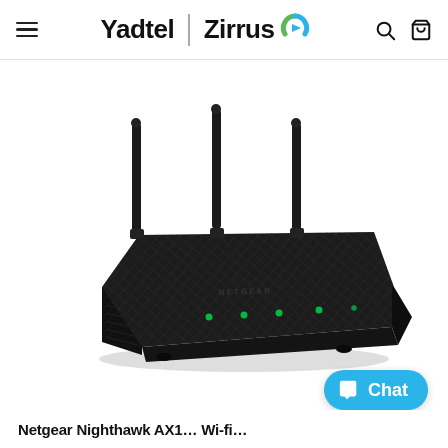Yadtel | Zirrus
[Figure (photo): Black Netgear Nighthawk WiFi router with three vertical antennas, viewed from a front-left angle, dark textured body with green LED indicator lights]
Chat
Netgear Nighthawk AX1...Wi-fi...